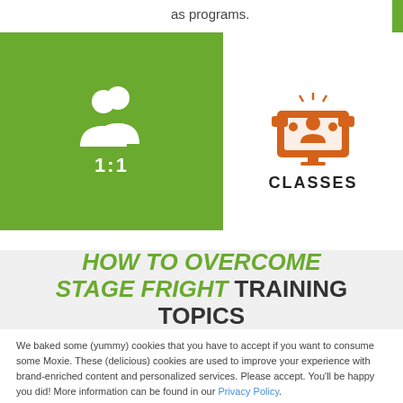as programs.
[Figure (illustration): Green box with white icon of two people (1:1 sessions icon) and label '1:1']
[Figure (illustration): White box with orange classroom/teacher with students icon and bold label 'CLASSES' with orange underline bar]
HOW TO OVERCOME STAGE FRIGHT TRAINING TOPICS
We baked some (yummy) cookies that you have to accept if you want to consume some Moxie. These (delicious) cookies are used to improve your experience with brand-enriched content and personalized services. Please accept. You'll be happy you did! More information can be found in our Privacy Policy.
Accept